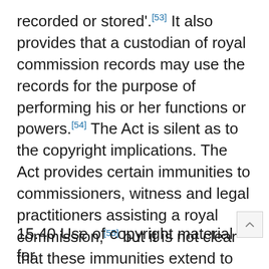recorded or stored'.[53] It also provides that a custodian of royal commission records may use the records for the purpose of performing his or her functions or powers.[54] The Act is silent as to the copyright implications. The Act provides certain immunities to commissioners, witness and legal practitioners assisting a royal commission,[55] but it is not clear that these immunities extend to actions for copyright infringement.
15.40 Use of copyright material for